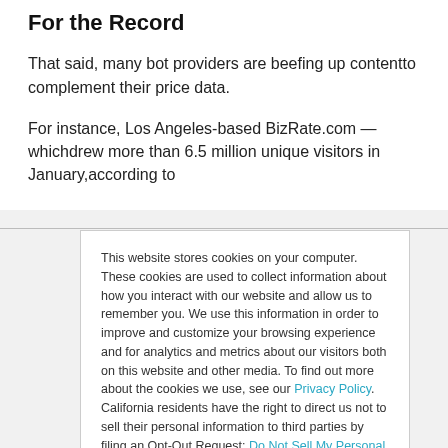For the Record
That said, many bot providers are beefing up content to complement their price data.
For instance, Los Angeles-based BizRate.com — which drew more than 6.5 million unique visitors in January, according to
This website stores cookies on your computer. These cookies are used to collect information about how you interact with our website and allow us to remember you. We use this information in order to improve and customize your browsing experience and for analytics and metrics about our visitors both on this website and other media. To find out more about the cookies we use, see our Privacy Policy. California residents have the right to direct us not to sell their personal information to third parties by filing an Opt-Out Request: Do Not Sell My Personal Info.
Accept